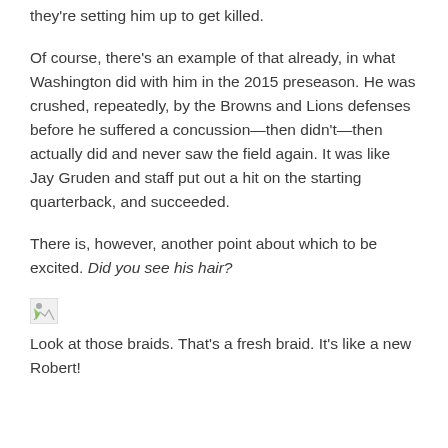they're setting him up to get killed.
Of course, there's an example of that already, in what Washington did with him in the 2015 preseason. He was crushed, repeatedly, by the Browns and Lions defenses before he suffered a concussion—then didn't—then actually did and never saw the field again. It was like Jay Gruden and staff put out a hit on the starting quarterback, and succeeded.
There is, however, another point about which to be excited. Did you see his hair?
[Figure (photo): Broken/missing image placeholder icon]
Look at those braids. That's a fresh braid. It's like a new Robert!